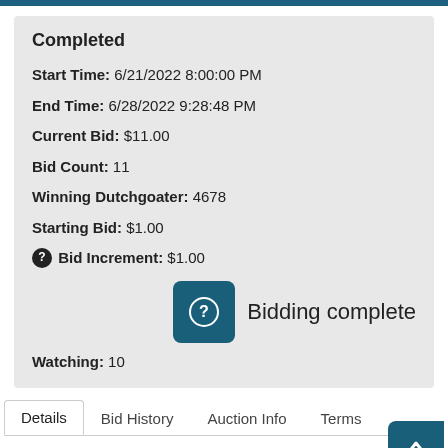Completed
Start Time: 6/21/2022 8:00:00 PM
End Time: 6/28/2022 9:28:48 PM
Current Bid: $11.00
Bid Count: 11
Winning Dutchgoater: 4678
Starting Bid: $1.00
Bid Increment: $1.00
Bidding complete
Watching: 10
Details
Bid History
Auction Info
Terms
Item Location
Contacts
Removal Tim